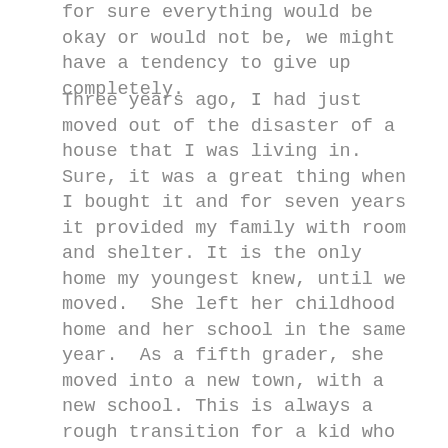for sure everything would be okay or would not be, we might have a tendency to give up completely.
Three years ago, I had just moved out of the disaster of a house that I was living in.  Sure, it was a great thing when I bought it and for seven years it provided my family with room and shelter. It is the only home my youngest knew, until we moved.  She left her childhood home and her school in the same year.  As a fifth grader, she moved into a new town, with a new school. This is always a rough transition for a kid who has difficulty making friends, but the transition was worsened by the fact that we moved from a mid-sized city, to a much smaller community where all the kids (and the parents too), had known each other probably since the parents went to school together.  My daughter eventually made friends in